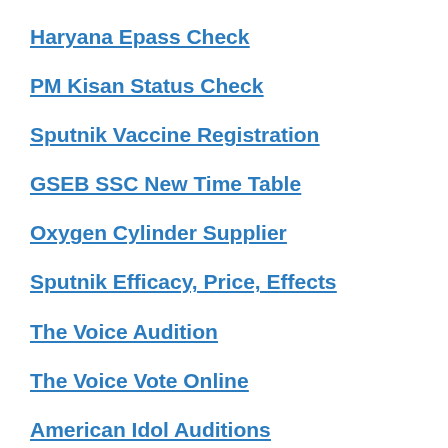Haryana Epass Check
PM Kisan Status Check
Sputnik Vaccine Registration
GSEB SSC New Time Table
Oxygen Cylinder Supplier
Sputnik Efficacy, Price, Effects
The Voice Audition
The Voice Vote Online
American Idol Auditions